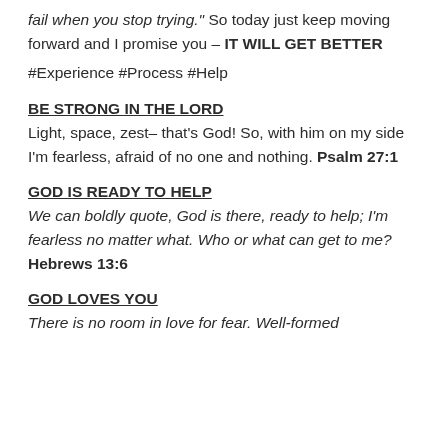fail when you stop trying." So today just keep moving forward and I promise you – IT WILL GET BETTER
#Experience #Process #Help
BE STRONG IN THE LORD
Light, space, zest– that's God! So, with him on my side I'm fearless, afraid of no one and nothing. Psalm 27:1
GOD IS READY TO HELP
We can boldly quote, God is there, ready to help; I'm fearless no matter what. Who or what can get to me? Hebrews 13:6
GOD LOVES YOU
There is no room in love for fear. Well-formed...